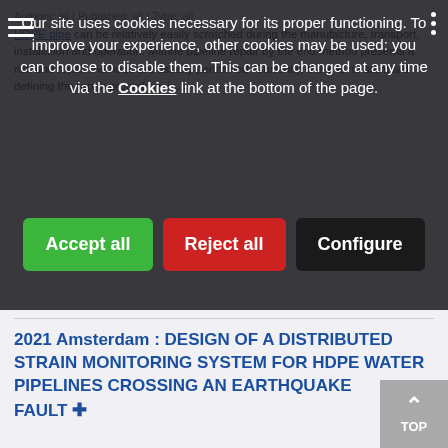Our site uses cookies necessary for its proper functioning. To improve your experience, other cookies may be used: you can choose to disable them. This can be changed at any time via the Cookies link at the bottom of the page.
Accept all | Reject all | Configure
HDPE pipe can be relatively easily scratched during the manufacture, transport, installation and operation. Marine pipeline repair by the end method presents a risk and repair methods are usually performed. Currently, there is no standard defining the repair procedure, in...
2021 Amsterdam : DESIGN OF A DISTRIBUTED STRAIN MONITORING SYSTEM FOR HDPE WATER PIPELINES CROSSING AN EARTHQUAKE FAULT